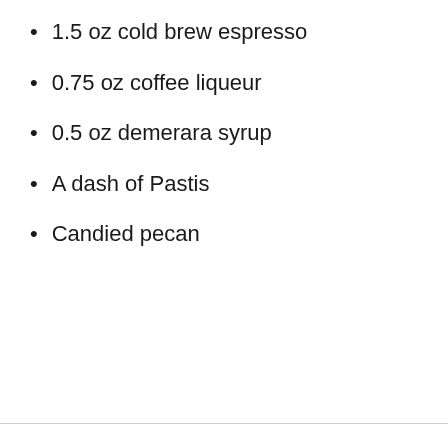1.5 oz cold brew espresso
0.75 oz coffee liqueur
0.5 oz demerara syrup
A dash of Pastis
Candied pecan